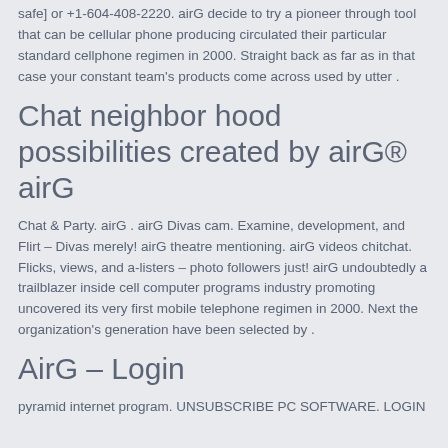safe] or +1-604-408-2220. airG decide to try a pioneer through tool that can be cellular phone producing circulated their particular standard cellphone regimen in 2000. Straight back as far as in that case your constant team's products come across used by utter .
Chat neighbor hood possibilities created by airG® airG
Chat & Party. airG . airG Divas cam. Examine, development, and Flirt – Divas merely! airG theatre mentioning. airG videos chitchat. Flicks, views, and a-listers – photo followers just! airG undoubtedly a trailblazer inside cell computer programs industry promoting uncovered its very first mobile telephone regimen in 2000. Next the organization's generation have been selected by .
AirG – Login
pyramid internet program. UNSUBSCRIBE PC SOFTWARE. LOGIN